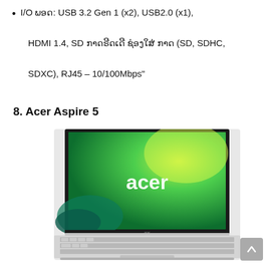I/O ພອດ: USB 3.2 Gen 1 (x2), USB2.0 (x1), HDMI 1.4, SD ກາດຣີດເດີ ຊ່ອງໃສ່ ກາດ (SD, SDHC, SDXC), RJ45 – 10/100Mbps"
8. Acer Aspire 5
[Figure (photo): Photo of an Acer Aspire 5 laptop with a green and teal swirl wallpaper displayed on screen showing the Acer logo, silver body with keyboard visible]